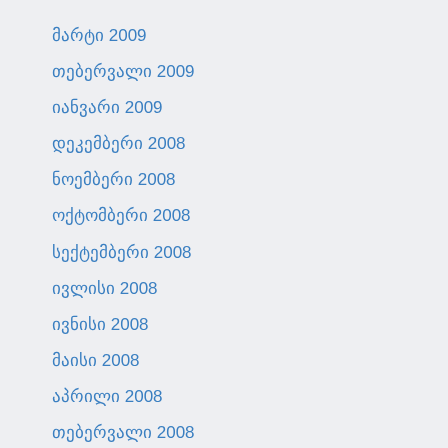მარტი 2009
თებერვალი 2009
იანვარი 2009
დეკემბერი 2008
ნოემბერი 2008
ოქტომბერი 2008
სექტემბერი 2008
ივლისი 2008
ივნისი 2008
მაისი 2008
აპრილი 2008
თებერვალი 2008
იანვარი 2008
დეკემბერი 2007
ნოემბერი 2007